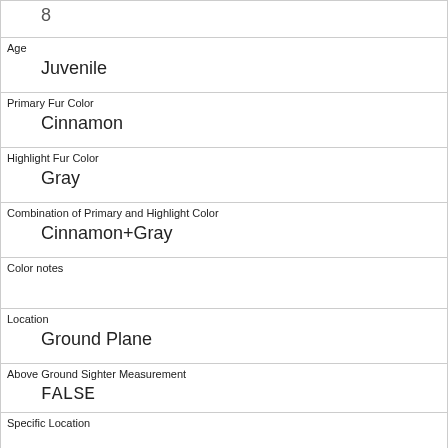| 8 |
| Age | Juvenile |
| Primary Fur Color | Cinnamon |
| Highlight Fur Color | Gray |
| Combination of Primary and Highlight Color | Cinnamon+Gray |
| Color notes |  |
| Location | Ground Plane |
| Above Ground Sighter Measurement | FALSE |
| Specific Location |  |
| Running | 0 |
| Chasing |  |